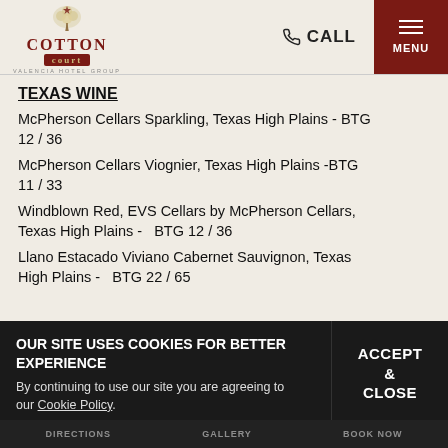[Figure (logo): Cotton Court Hotel logo with Valencia Hotel Group text below]
TEXAS WINE
McPherson Cellars Sparkling, Texas High Plains - BTG 12 / 36
McPherson Cellars Viognier, Texas High Plains -BTG 11 / 33
Windblown Red, EVS Cellars by McPherson Cellars, Texas High Plains -  BTG 12 / 36
Llano Estacado Viviano Cabernet Sauvignon, Texas High Plains -  BTG 22 / 65
OUR SITE USES COOKIES FOR BETTER EXPERIENCE
By continuing to use our site you are agreeing to our Cookie Policy.
ACCEPT & CLOSE
DIRECTIONS  GALLERY  BOOK NOW